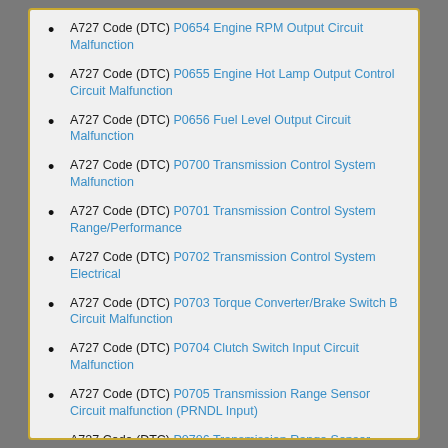A727 Code (DTC) P0654 Engine RPM Output Circuit Malfunction
A727 Code (DTC) P0655 Engine Hot Lamp Output Control Circuit Malfunction
A727 Code (DTC) P0656 Fuel Level Output Circuit Malfunction
A727 Code (DTC) P0700 Transmission Control System Malfunction
A727 Code (DTC) P0701 Transmission Control System Range/Performance
A727 Code (DTC) P0702 Transmission Control System Electrical
A727 Code (DTC) P0703 Torque Converter/Brake Switch B Circuit Malfunction
A727 Code (DTC) P0704 Clutch Switch Input Circuit Malfunction
A727 Code (DTC) P0705 Transmission Range Sensor Circuit malfunction (PRNDL Input)
A727 Code (DTC) P0706 Transmission Range Sensor Circuit Range/Performance
A727 Code (DTC) P0707 Transmission Range Sensor Circuit Low Input